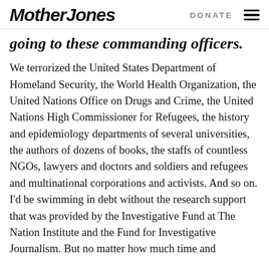Mother Jones | DONATE
going to these commanding officers.
We terrorized the United States Department of Homeland Security, the World Health Organization, the United Nations Office on Drugs and Crime, the United Nations High Commissioner for Refugees, the history and epidemiology departments of several universities, the authors of dozens of books, the staffs of countless NGOs, lawyers and doctors and soldiers and refugees and multinational corporations and activists. And so on. I'd be swimming in debt without the research support that was provided by the Investigative Fund at The Nation Institute and the Fund for Investigative Journalism. But no matter how much time and